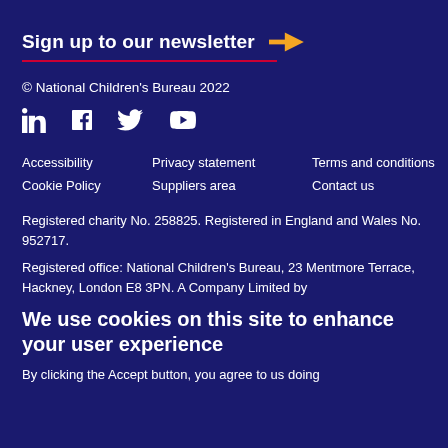Sign up to our newsletter →
© National Children's Bureau 2022
[Figure (illustration): Social media icons: LinkedIn, Facebook, Twitter, YouTube]
Accessibility
Privacy statement
Terms and conditions
Cookie Policy
Suppliers area
Contact us
Registered charity No. 258825. Registered in England and Wales No. 952717.
Registered office: National Children's Bureau, 23 Mentmore Terrace, Hackney, London E8 3PN. A Company Limited by
We use cookies on this site to enhance your user experience
By clicking the Accept button, you agree to us doing